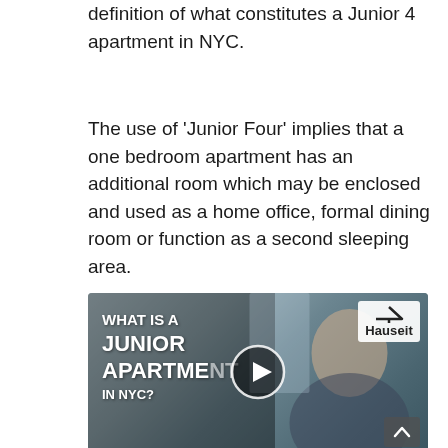definition of what constitutes a Junior 4 apartment in NYC.
The use of 'Junior Four' implies that a one bedroom apartment has an additional room which may be enclosed and used as a home office, formal dining room or function as a second sleeping area.
[Figure (photo): Video thumbnail showing a man in a suit with text overlay reading 'WHAT IS A JUNIOR 4 APARTMENT IN NYC?' with a play button in the center and Hauseit logo in the top right corner.]